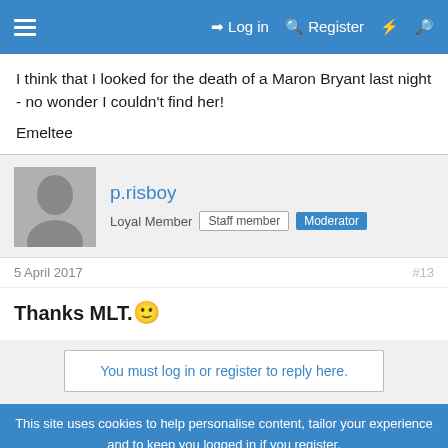≡  Log in  Register  ⚡  🔍
I think that I looked for the death of a Maron Bryant last night - no wonder I couldn't find her!
Emeltee
p.risboy
Loyal Member  Staff member  Moderator
5 April 2017  #13
Thanks MLT. 🙂
You must log in or register to reply here.
This site uses cookies to help personalise content, tailor your experience and to keep you logged in if you register.
By continuing to use this site, you are consenting to our use of cookies.
Accept  Learn more...